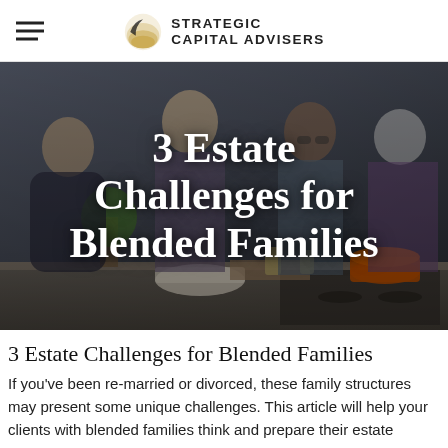Strategic Capital Advisers
[Figure (photo): A multi-generational blended family cooking together in a kitchen. Bold white text overlaid reads '3 Estate Challenges for Blended Families'.]
3 Estate Challenges for Blended Families
If you've been re-married or divorced, these family structures may present some unique challenges. This article will help your clients with blended families think and prepare their estate strategy.